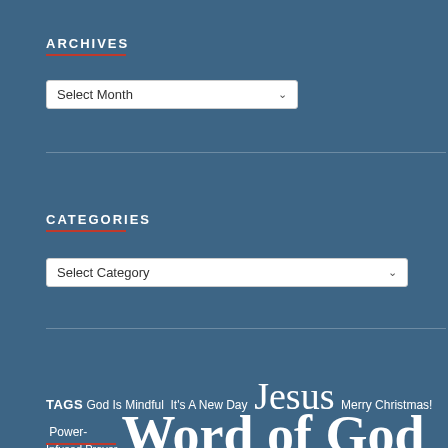ARCHIVES
Select Month
CATEGORIES
Select Category
TAGS God Is Mindful It's A New Day Jesus Merry Christmas! Power-Infused Prayer Word of God